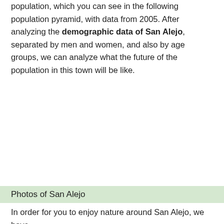population, which you can see in the following population pyramid, with data from 2005. After analyzing the demographic data of San Alejo, separated by men and women, and also by age groups, we can analyze what the future of the population in this town will be like.
Photos of San Alejo
In order for you to enjoy nature around San Alejo, we have